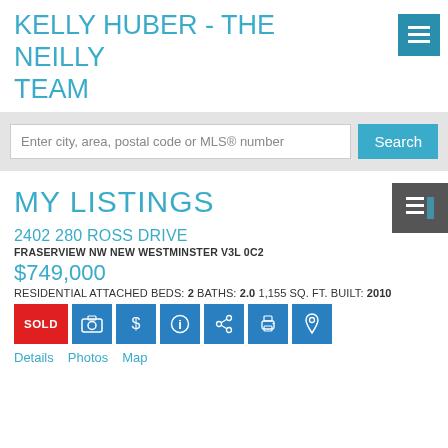KELLY HUBER - THE NEILLY TEAM
Enter city, area, postal code or MLS® number
MY LISTINGS
2402 280 ROSS DRIVE
FRASERVIEW NW NEW WESTMINSTER V3L 0C2
$749,000
RESIDENTIAL ATTACHED BEDS: 2 BATHS: 2.0 1,155 SQ. FT. BUILT: 2010
SOLD
Details  Photos  Map